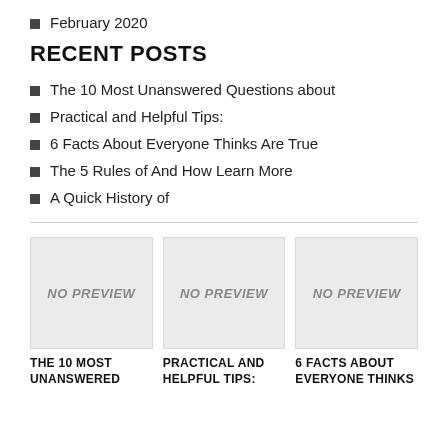February 2020
RECENT POSTS
The 10 Most Unanswered Questions about
Practical and Helpful Tips:
6 Facts About Everyone Thinks Are True
The 5 Rules of And How Learn More
A Quick History of
[Figure (other): No preview placeholder image 1]
THE 10 MOST UNANSWERED
[Figure (other): No preview placeholder image 2]
PRACTICAL AND HELPFUL TIPS:
[Figure (other): No preview placeholder image 3]
6 FACTS ABOUT EVERYONE THINKS